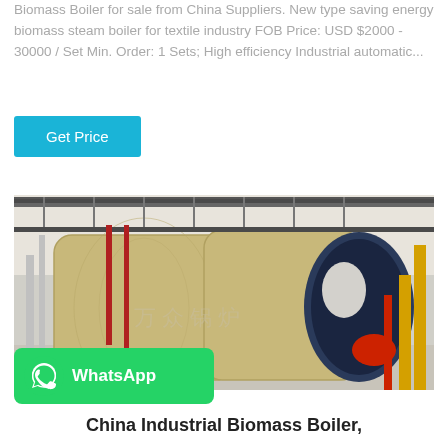Biomass Boiler for sale from China Suppliers. New type saving energy biomass steam boiler for textile industry FOB Price: USD $2000 - 30000 / Set Min. Order: 1 Sets; High efficiency Industrial automatic...
Get Price
[Figure (photo): Industrial biomass boiler installation showing large cylindrical tan/beige boiler tanks in an industrial facility with metal walkways, pipes, and yellow/red piping.]
[Figure (logo): WhatsApp logo and label on green background]
China Industrial Biomass Boiler,